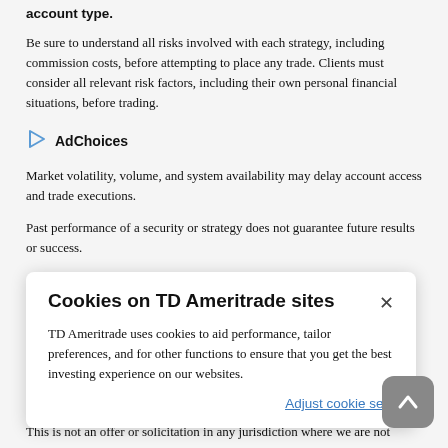account type.
Be sure to understand all risks involved with each strategy, including commission costs, before attempting to place any trade. Clients must consider all relevant risk factors, including their own personal financial situations, before trading.
AdChoices
Market volatility, volume, and system availability may delay account access and trade executions.
Past performance of a security or strategy does not guarantee future results or success.
Cookies on TD Ameritrade sites
TD Ameritrade uses cookies to aid performance, tailor preferences, and for other functions to ensure that you get the best investing experience on our websites.
Adjust cookie settings
This is not an offer or solicitation in any jurisdiction where we are not